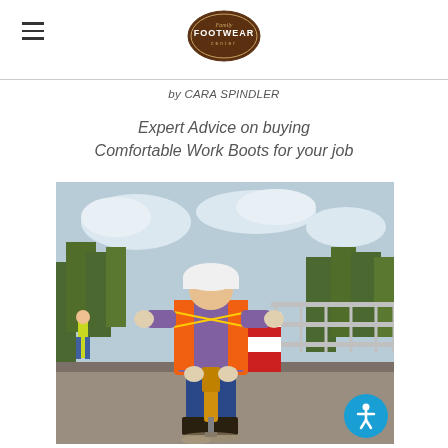Family Footwear Center logo and hamburger menu
by CARA SPINDLER
Expert Advice on buying Comfortable Work Boots for your job
[Figure (photo): Construction worker wearing an orange safety vest, white hard hat, and blue jeans, operating a jackhammer on a road surface at a construction site. Another worker in the background wearing a yellow vest. Metal barriers visible to the right.]